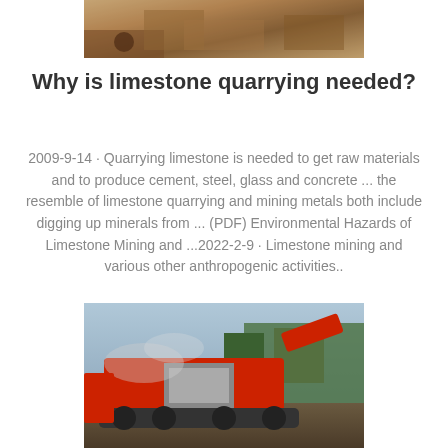[Figure (photo): Top partial photo of stone quarrying or construction site with materials]
Why is limestone quarrying needed?
2009-9-14 · Quarrying limestone is needed to get raw materials and to produce cement, steel, glass and concrete ... the resemble of limestone quarrying and mining metals both include digging up minerals from ... (PDF) Environmental Hazards of Limestone Mining and ...2022-2-9 · Limestone mining and various other anthropogenic activities..
inquiry@shanghaimeilan
[Figure (photo): Bottom photo of a red mobile crushing/mining machine in operation at a quarry site with dust and trees in background]